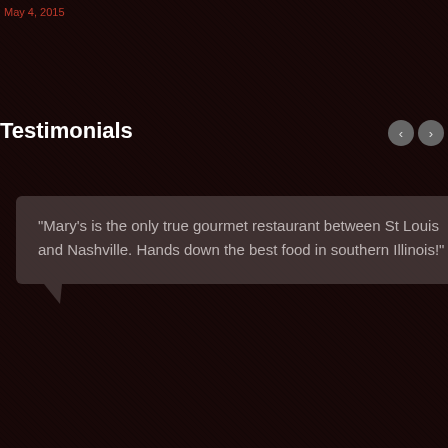May 4, 2015
Testimonials
"Mary's is the only true gourmet restaurant between St Louis and Nashville. Hands down the best food in southern Illinois!"
Tom Patelke
Bravo!
Mary's Restaurant rated "excellent" by 65 travelers
[Figure (logo): TripAdvisor logo with owl eye circles and tripadvisor text]
[Figure (logo): reCAPTCHA logo with Privacy and Terms links]